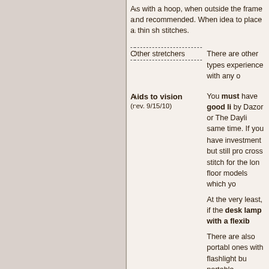As with a hoop, when outside the frame and recommended. When idea to place a thin sh stitches.
Other stretchers
There are other types experience with any o
Aids to vision (rev. 9/15/10)
You must have good li by Dazor or The Dayli same time. If you have investment but still pro cross stitch for the lon floor models which yo
At the very least, if the desk lamp with a flexib
There are also portabl ones with flashlight bu portable magnifiers no lights -- look for one w excellent lights.
Other portable magnifi reading glasses, or Ma with or without glasses